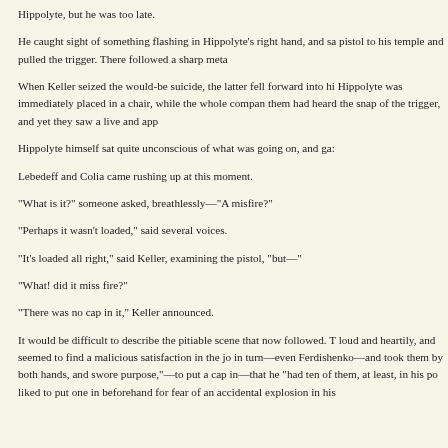Hippolyte, but he was too late.
He caught sight of something flashing in Hippolyte's right hand, and sa pistol to his temple and pulled the trigger. There followed a sharp meta
When Keller seized the would-be suicide, the latter fell forward into hi Hippolyte was immediately placed in a chair, while the whole compan them had heard the snap of the trigger, and yet they saw a live and app
Hippolyte himself sat quite unconscious of what was going on, and ga:
Lebedeff and Colia came rushing up at this moment.
"What is it?" someone asked, breathlessly—"A misfire?"
"Perhaps it wasn't loaded," said several voices.
"It's loaded all right," said Keller, examining the pistol, "but—"
"What! did it miss fire?"
"There was no cap in it," Keller announced.
It would be difficult to describe the pitiable scene that now followed. T loud and heartily, and seemed to find a malicious satisfaction in the jo in turn—even Ferdishenko—and took them by both hands, and swore purpose,"—to put a cap in—that he "had ten of them, at least, in his po liked to put one in beforehand for fear of an accidental explosion in his